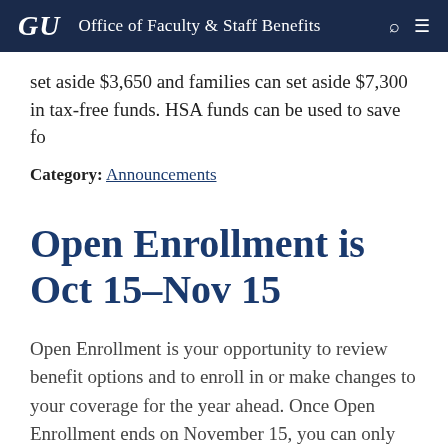GU Office of Faculty & Staff Benefits
set aside $3,650 and families can set aside $7,300 in tax-free funds. HSA funds can be used to save fo
Category: Announcements
Open Enrollment is Oct 15-Nov 15
Open Enrollment is your opportunity to review benefit options and to enroll in or make changes to your coverage for the year ahead. Once Open Enrollment ends on November 15, you can only